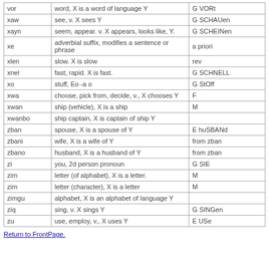|  |  |  |
| --- | --- | --- |
| vor | word, X is a word of language Y | G VORt |
| xaw | see, v. X sees Y | G SCHAUen |
| xayn | seem, appear. v. X appears, looks like, Y. | G SCHEINen |
| xe | adverbial suffix, modifies a sentence or phrase | a priori |
| xlen | slow. X is slow | rev |
| xnel | fast, rapid. X is fast. | G SCHNELL |
| xo | stuff, Eo -a o | G StOff |
| xwa | choose, pick from, decide, v., X chooses Y | F |
| xwan | ship (vehicle), X is a ship | M |
| xwanbo | ship captain, X is captain of ship Y |  |
| zban | spouse, X is a spouse of Y | E huSBANd |
| zbani | wife, X is a wife of Y | from zban |
| zbano | husband, X is a husband of Y | from zban |
| zi | you, 2d person pronoun | G SIE |
| zim | letter (of alphabet), X is a letter. | M |
| zim | letter (character), X is a letter | M |
| zimgu | alphabet, X is an alphabet of language Y |  |
| ziq | sing, v. X sings Y | G SINGen |
| zu | use, employ, v., X uses Y | E USe |
Return to FrontPage.